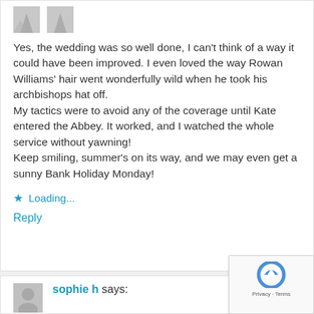[Figure (illustration): Two small grey avatar icons at the top of the comment]
Yes, the wedding was so well done, I can't think of a way it could have been improved. I even loved the way Rowan Williams' hair went wonderfully wild when he took his archbishops hat off.
My tactics were to avoid any of the coverage until Kate entered the Abbey. It worked, and I watched the whole service without yawning!
Keep smiling, summer's on its way, and we may even get a sunny Bank Holiday Monday!
Loading...
Reply
[Figure (illustration): Grey avatar icon for sophie h]
sophie h says:
[Figure (logo): reCAPTCHA badge with Privacy · Terms]